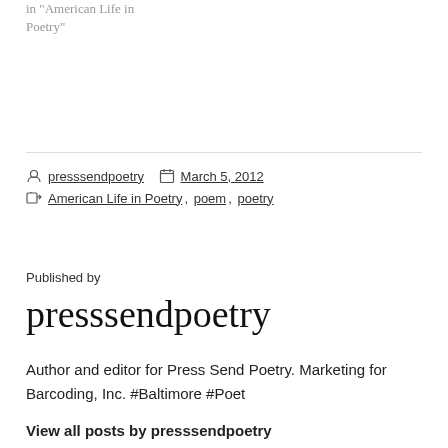in "American Life in Poetry"
presssendpoetry   March 5, 2012
American Life in Poetry, poem, poetry
Published by
presssendpoetry
Author and editor for Press Send Poetry. Marketing for Barcoding, Inc. #Baltimore #Poet
View all posts by presssendpoetry